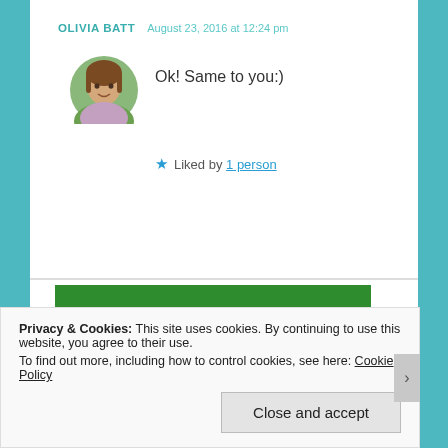OLIVIA BATT   August 23, 2016 at 12:24 pm
Ok! Same to you:)
★ Liked by 1 person
[Figure (photo): Circular avatar photo of a young woman outdoors]
WordPress backup plugin
Back up your site
Privacy & Cookies: This site uses cookies. By continuing to use this website, you agree to their use.
To find out more, including how to control cookies, see here: Cookie Policy
Close and accept